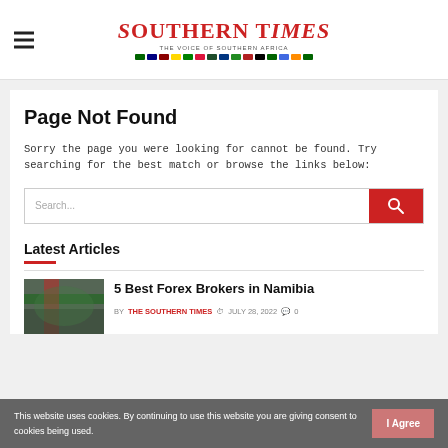The Southern Times
Page Not Found
Sorry the page you were looking for cannot be found. Try searching for the best match or browse the links below:
Latest Articles
5 Best Forex Brokers in Namibia
BY THE SOUTHERN TIMES  JULY 28, 2022  0
This website uses cookies. By continuing to use this website you are giving consent to cookies being used.